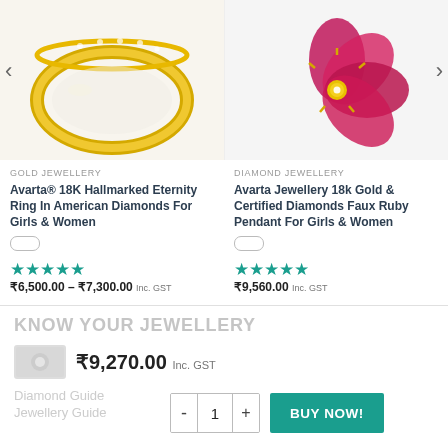[Figure (photo): Gold eternity ring with diamonds on white background, cropped view]
[Figure (photo): 18k Gold pendant with ruby-colored stones in flower shape on white background]
GOLD JEWELLERY
Avarta® 18K Hallmarked Eternity Ring In American Diamonds For Girls & Women
★★★★★
₹6,500.00 – ₹7,300.00 Inc. GST
DIAMOND JEWELLERY
Avarta Jewellery 18k Gold & Certified Diamonds Faux Ruby Pendant For Girls & Women
★★★★★
₹9,560.00 Inc. GST
KNOW YOUR JEWELLERY
₹9,270.00 Inc. GST
Diamond Guide
Jewellery Guide
1
BUY NOW!